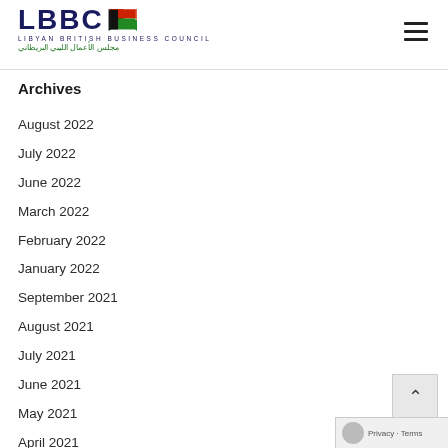LBBC – Libyan British Business Council / مجلس الأعمال الليبي البريطاني
Archives
August 2022
July 2022
June 2022
March 2022
February 2022
January 2022
September 2021
August 2021
July 2021
June 2021
May 2021
April 2021
March 2021